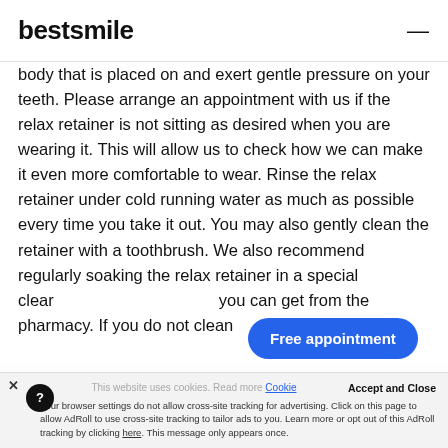bestsmile
body that is placed on and exert gentle pressure on your teeth. Please arrange an appointment with us if the relax retainer is not sitting as desired when you are wearing it. This will allow us to check how we can make it even more comfortable to wear. Rinse the relax retainer under cold running water as much as possible every time you take it out. You may also gently clean the retainer with a toothbrush. We also recommend regularly soaking the relax retainer in a special cleaner you can get from the pharmacy. If you do not clean
[Figure (other): Blue oval CTA button labeled 'Free appointment']
This website uses cookies. Read more Cookie | Accept and Close | Your browser settings do not allow cross-site tracking for advertising. Click on this page to allow AdRoll to use cross-site tracking to tailor ads to you. Learn more or opt out of this AdRoll tracking by clicking here. This message only appears once.